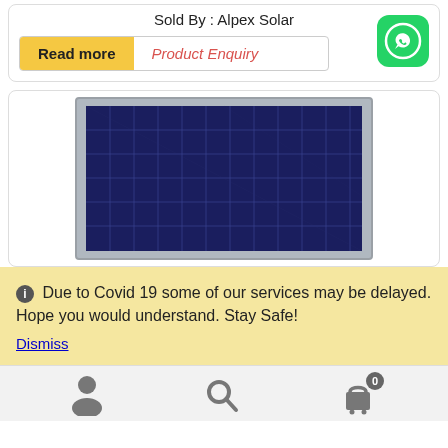Sold By : Alpex Solar
Read more | Product Enquiry
[Figure (photo): Solar panel product image showing a dark blue photovoltaic panel with grid pattern of cells]
Due to Covid 19 some of our services may be delayed. Hope you would understand. Stay Safe!
Dismiss